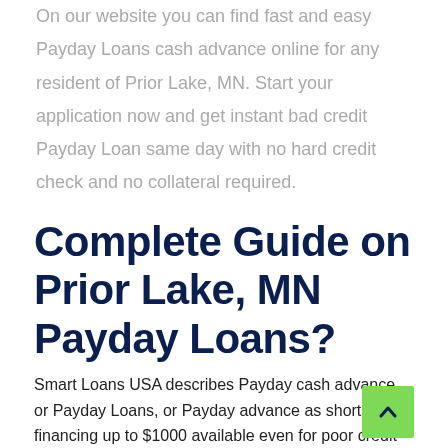On our website you can find fast and easy Payday Loans cash advance online for any resident of Prior Lake, MN. Start your application now and get instant bad credit Payday Loan same day with no hard credit check and no collateral required.
Complete Guide on Prior Lake, MN Payday Loans?
Smart Loans USA describes Payday cash advance, or Payday Loans, or Payday advance as short-term financing up to $1000 available even for poor credit borrowers. Borrowers will receive within one month...